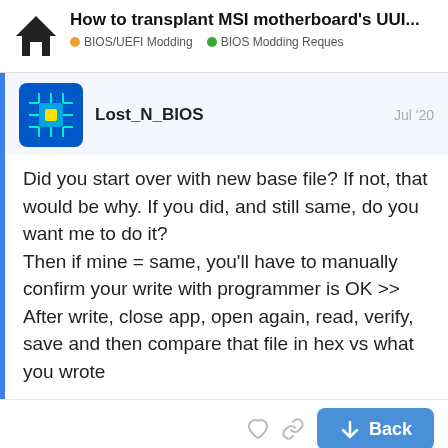How to transplant MSI motherboard's UUI... | BIOS/UEFI Modding | BIOS Modding Reques
Lost_N_BIOS   Jul '20
Did you start over with new base file? If not, that would be why. If you did, and still same, do you want me to do it?
Then if mine = same, you'll have to manually confirm your write with programmer is OK >> After write, close app, open again, read, verify, save and then compare that file in hex vs what you wrote
June_Da_Pek   10 / 25